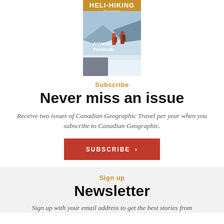[Figure (illustration): Magazine cover of Heli-Hiking showing two hikers on a snowy Antarctic Peninsula landscape, with gold title text 'HELI-HIKING' at the top and 'Antarctic Peninsula' text over the image.]
Subscribe
Never miss an issue
Receive two issues of Canadian Geographic Travel per year when you subscribe to Canadian Geographic.
SUBSCRIBE >
Sign up
Newsletter
Sign up with your email address to get the best stories from